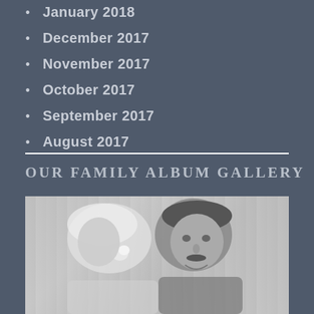January 2018
December 2017
November 2017
October 2017
September 2017
August 2017
OUR FAMILY ALBUM GALLERY
[Figure (photo): Black and white wedding photo showing a bride in veil with flower and a groom with dark hair, against a draped curtain background]